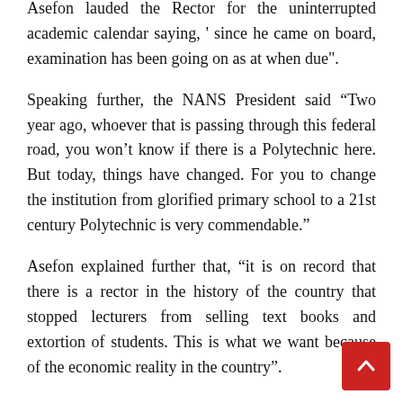Asefon lauded the Rector for the uninterrupted academic calendar saying, ' since he came on board, examination has been going on as at when due".
Speaking further, the NANS President said “Two year ago, whoever that is passing through this federal road, you won’t know if there is a Polytechnic here. But today, things have changed. For you to change the institution from glorified primary school to a 21st century Polytechnic is very commendable.”
Asefon explained further that, “it is on record that there is a rector in the history of the country that stopped lecturers from selling text books and extortion of students. This is what we want because of the economic reality in the country”.